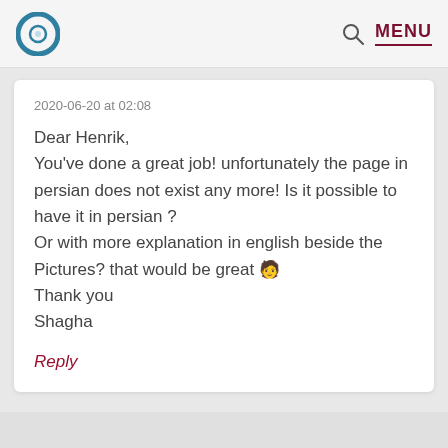C [logo] MENU
2020-06-20 at 02:08
Dear Henrik,
You've done a great job! unfortunately the page in persian does not exist any more! Is it possible to have it in persian ?
Or with more explanation in english beside the Pictures? that would be great 🧑
Thank you
Shagha
Reply